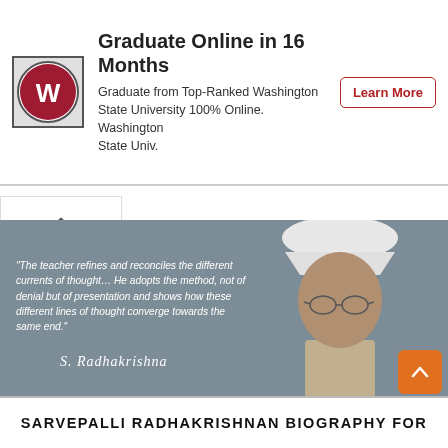[Figure (screenshot): Advertisement banner for Washington State University online graduate program. Shows WSU logo on left, text 'Graduate Online in 16 Months' and 'Graduate from Top-Ranked Washington State University 100% Online. Washington State Univ.' with a 'Learn More' button on the right.]
[Figure (photo): Grayscale photo of Sarvepalli Radhakrishnan wearing traditional white turban and glasses, overlaid on grey background with a quote: '"The teacher refines and reconciles the different currents of thought… He adopts the method, not of denial but of presentation and shows how these different lines of thought converge towards the same end."' followed by a cursive signature.]
SARVEPALLI RADHAKRISHNAN BIOGRAPHY FOR